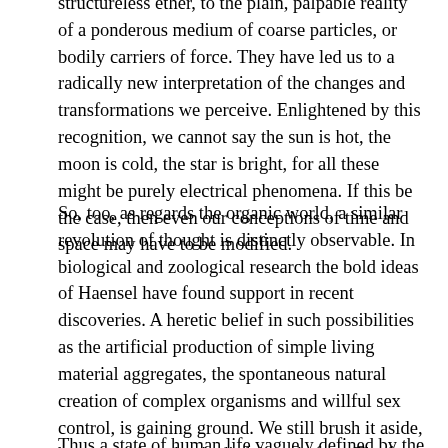structureless ether, to the plain, palpable reality of a ponderous medium of coarse particles, or bodily carriers of force. They have led us to a radically new interpretation of the changes and transformations we perceive. Enlightened by this recognition, we cannot say the sun is hot, the moon is cold, the star is bright, for all these might be purely electrical phenomena. If this be the case, then even our conceptions of time and space may have to be modified.
So, too, as regards the organic world, a similar revolution of thought is distinctly observable. In biological and zoological research the bold ideas of Haensel have found support in recent discoveries. A heretic belief in such possibilities as the artificial production of simple living material aggregates, the spontaneous natural creation of complex organisms and willful sex control, is gaining ground. We still brush it aside, but not with pedantic disdain as before. The fact is—our faith in the orthodox theory of slow evolution is being destroyed!
Thus a state of human life vaguely defined by the term